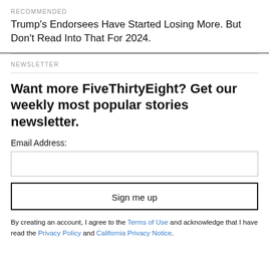RECOMMENDED
Trump's Endorsees Have Started Losing More. But Don't Read Into That For 2024.
NEWSLETTER
Want more FiveThirtyEight? Get our weekly most popular stories newsletter.
Email Address:
Sign me up
By creating an account, I agree to the Terms of Use and acknowledge that I have read the Privacy Policy and California Privacy Notice.